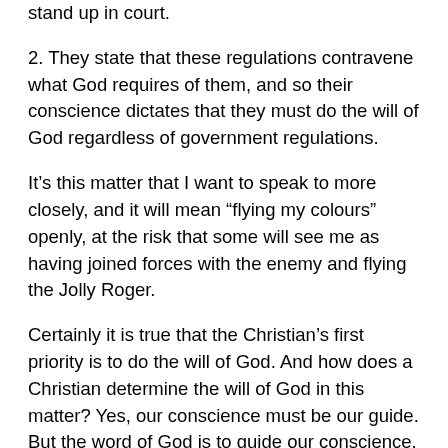stand up in court.
2. They state that these regulations contravene what God requires of them, and so their conscience dictates that they must do the will of God regardless of government regulations.
It's this matter that I want to speak to more closely, and it will mean “flying my colours” openly, at the risk that some will see me as having joined forces with the enemy and flying the Jolly Roger.
Certainly it is true that the Christian’s first priority is to do the will of God. And how does a Christian determine the will of God in this matter? Yes, our conscience must be our guide. But the word of God is to guide our conscience. So what does the word of God have to say about this? Here’s what Peter has to say: